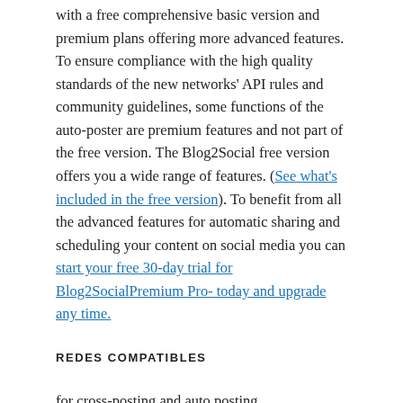with a free comprehensive basic version and premium plans offering more advanced features. To ensure compliance with the high quality standards of the new networks' API rules and community guidelines, some functions of the auto-poster are premium features and not part of the free version. The Blog2Social free version offers you a wide range of features. (See what's included in the free version). To benefit from all the advanced features for automatic sharing and scheduling your content on social media you can start your free 30-day trial for Blog2SocialPremium Pro- today and upgrade any time.
REDES COMPATIBLES
for cross-posting and auto posting
* Facebook – Post to your profile, page (Free), and in groups (Premium)